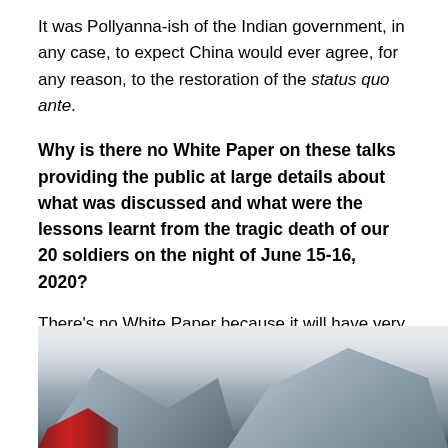It was Pollyanna-ish of the Indian government, in any case, to expect China would ever agree, for any reason, to the restoration of the status quo ante.
Why is there no White Paper on these talks providing the public at large details about what was discussed and what were the lessons learnt from the tragic death of our 20 soldiers on the night of June 15-16, 2020?
There’s no White Paper because it will have very little to report other than that China has not, and will not, move an inch from their proclaimed 1959 claimline which, by the way, Beijing never formally resiled from.
[Figure (photo): Mountain landscape with snow-covered peaks, overcast sky, and a tent structure visible at the lower left — likely depicting a high-altitude military or expedition camp in the Himalayas.]